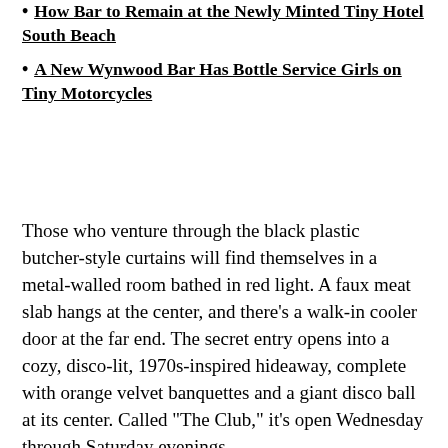How Bar to Remain at the Newly Minted Tiny Hotel South Beach
A New Wynwood Bar Has Bottle Service Girls on Tiny Motorcycles
Those who venture through the black plastic butcher-style curtains will find themselves in a metal-walled room bathed in red light. A faux meat slab hangs at the center, and there's a walk-in cooler door at the far end. The secret entry opens into a cozy, disco-lit, 1970s-inspired hideaway, complete with orange velvet banquettes and a giant disco ball at its center. Called "The Club," it's open Wednesday through Saturday evenings.